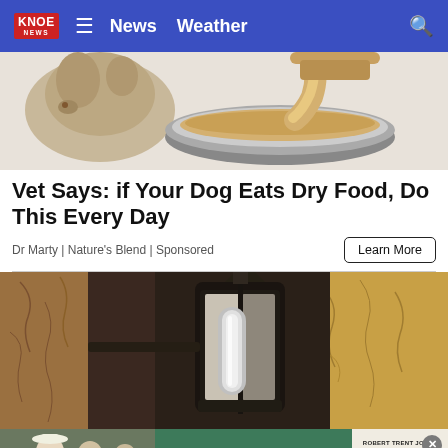KNOE NEWS | News  Weather
[Figure (illustration): Cartoon illustration of a dog food bowl being filled, with a dog in the background]
Vet Says: if Your Dog Eats Dry Food, Do This Every Day
Dr Marty | Nature's Blend | Sponsored
[Figure (photo): Close-up photo of a vintage lantern mounted on a textured stucco wall]
[Figure (infographic): Advertisement banner: PLAY ALL DAY - Robert Trent Jones Golf Trail]